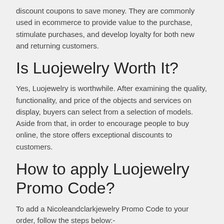discount coupons to save money. They are commonly used in ecommerce to provide value to the purchase, stimulate purchases, and develop loyalty for both new and returning customers.
Is Luojewelry Worth It?
Yes, Luojewelry is worthwhile. After examining the quality, functionality, and price of the objects and services on display, buyers can select from a selection of models. Aside from that, in order to encourage people to buy online, the store offers exceptional discounts to customers.
How to apply Luojewelry Promo Code?
To add a Nicoleandclarkjewelry Promo Code to your order, follow the steps below:-
Add the product(s) to your shopping bag first.
Then in the checkout view, enter your discount code in the